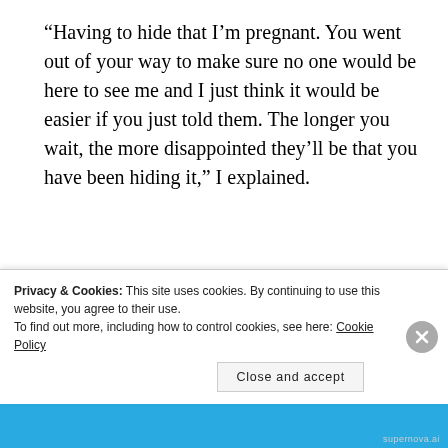“Having to hide that I’m pregnant. You went out of your way to make sure no one would be here to see me and I just think it would be easier if you just told them. The longer you wait, the more disappointed they’ll be that you have been hiding it,” I explained.
Brady nodded like he had it under
Privacy & Cookies: This site uses cookies. By continuing to use this website, you agree to their use.
To find out more, including how to control cookies, see here: Cookie Policy
Close and accept